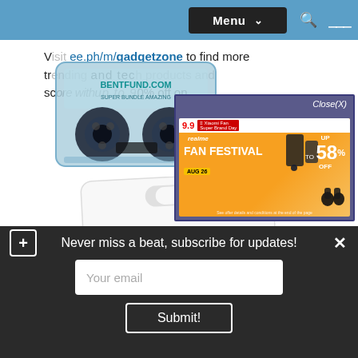Menu navigation bar with search icons
Visit ee.ph/m/gadgetzone to find more trending tech and score with up to 90% off on
[Figure (photo): Semi-transparent cassette tape image overlaid on text]
[Figure (screenshot): Realme Fan Festival advertisement banner with 'UP TO 58% OFF' promotion, showing Close(X) button at top right]
[Figure (photo): DITO SIM card product image, white card with red DITO logo text, partially visible]
Never miss a beat, subscribe for updates!
Your email
Submit!